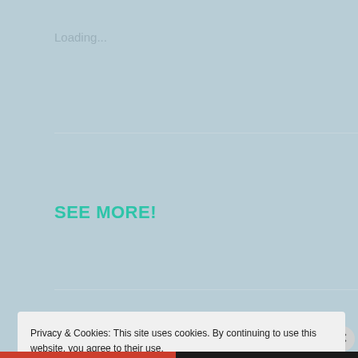Loading...
SEE MORE!
Privacy & Cookies: This site uses cookies. By continuing to use this website, you agree to their use.
To find out more, including how to control cookies, see here: Cookie Policy
Close and accept